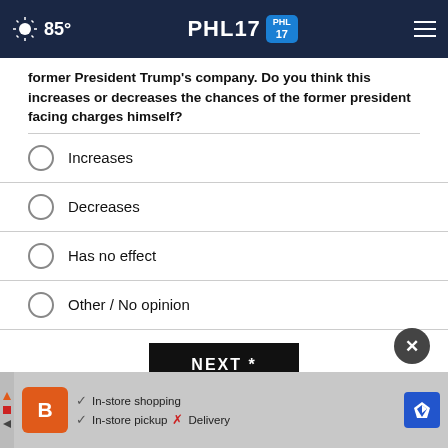85° PHL17
former President Trump's company. Do you think this increases or decreases the chances of the former president facing charges himself?
Increases
Decreases
Has no effect
Other / No opinion
NEXT *
* By clicking "NEXT" you agree to the following: We use cookies to track your survey answers. If you would like to continue with this survey, please read and agree to the CivicScience Privacy Policy and Terms of Service